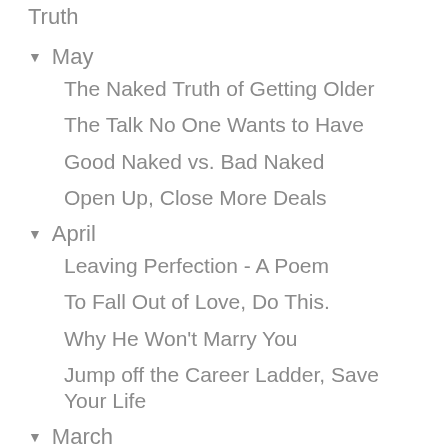Truth
▼ May
The Naked Truth of Getting Older
The Talk No One Wants to Have
Good Naked vs. Bad Naked
Open Up, Close More Deals
▼ April
Leaving Perfection - A Poem
To Fall Out of Love, Do This.
Why He Won't Marry You
Jump off the Career Ladder, Save Your Life
▼ March